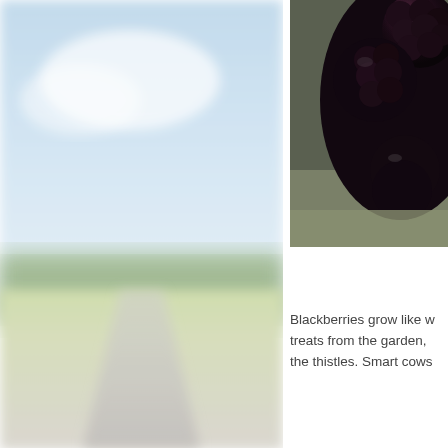[Figure (photo): Blurry landscape photo showing a road stretching into the distance with green trees and fields on either side under a light blue sky with clouds]
[Figure (photo): Close-up photo of dark blackberries, appearing very dark/black in color, cropped at the right edge]
Blackberries grow like w treats from the garden, the thistles. Smart cows